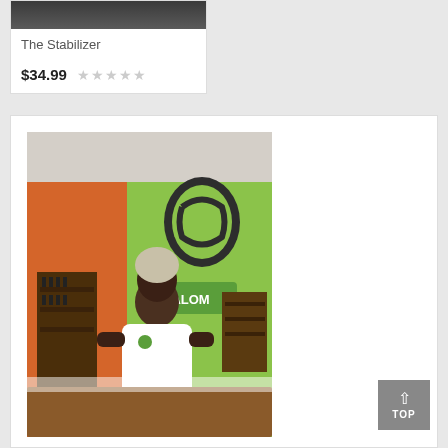[Figure (photo): Product card showing top portion of a dark bottle/product image with white card below containing title and price]
The Stabilizer
$34.99 ★★★★★ (empty stars)
[Figure (photo): Man in white polo shirt with dreadlocks hat standing behind a counter inside a store with green and orange walls, a sign reading HALOM visible in background, shelving with products]